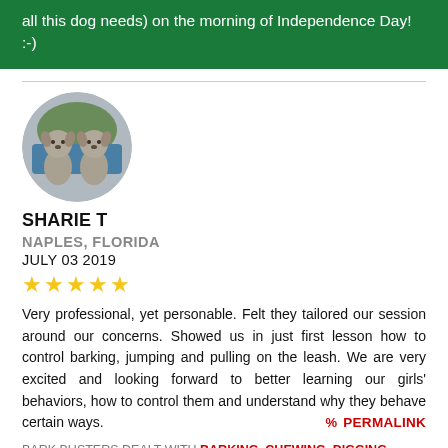all this dog needs) on the morning of Independence Day! :-)
SHARIE T
NAPLES, FLORIDA
JULY 03 2019
[Figure (other): Five gold star rating]
Very professional, yet personable. Felt they tailored our session around our concerns. Showed us in just first lesson how to control barking, jumping and pulling on the leash. We are very excited and looking forward to better learning our girls' behaviors, how to control them and understand why they behave certain ways.
BARK BUSTERS DEALT WITH BARKING, CHEWING, DIGGING, HYPERACTIVITY, JUMPING UP, PULLING, PUPPY